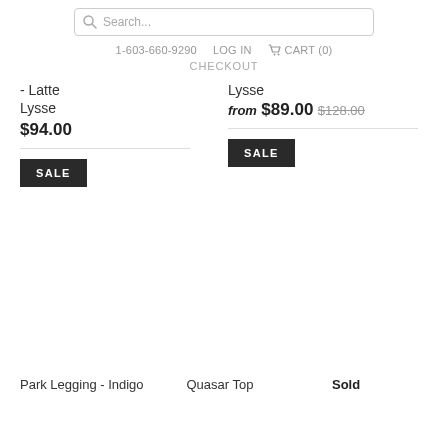Search...
1-603-660-9290  LOG IN  CART (0)
CHECKOUT
- Latte
Lysse
$94.00
Lysse
from $89.00 $128.00
SALE
SALE
Park Legging - Indigo
Quasar Top
Sold